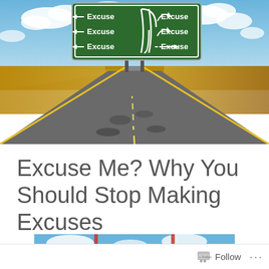[Figure (photo): A long straight road stretching to the horizon through flat fields under a partly cloudy sky, with a large green highway sign overhead displaying multiple arrows and the word 'Excuse' pointing in various directions (left and right arrows).]
Excuse Me? Why You Should Stop Making Excuses
[Figure (photo): Partial view of a second image at the bottom showing a blue sky with clouds and a green sign, partially cut off.]
Follow ...